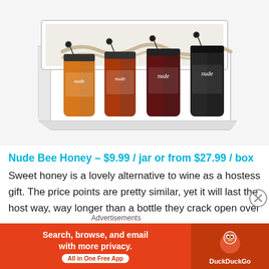[Figure (photo): Four jars of Nude Bee Honey in an open white gift box with brown tissue paper packaging. Jars vary in color from amber/orange to dark brown/black.]
Nude Bee Honey – $9.99 / jar or from $27.99 / box
Sweet honey is a lovely alternative to wine as a hostess gift. The price points are pretty similar, yet it will last the host way, way longer than a bottle they crack open over
Advertisements
[Figure (screenshot): DuckDuckGo advertisement banner. Red/orange background with text 'Search, browse, and email with more privacy. All in One Free App' and DuckDuckGo logo on the right.]